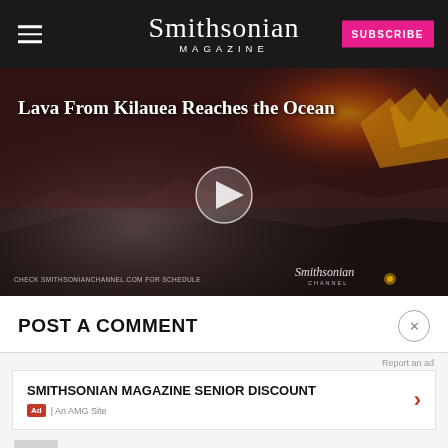Smithsonian MAGAZINE
[Figure (screenshot): Video thumbnail showing lava from Kilauea reaching the ocean, with a play button overlay. Title text reads 'Lava From Kilauea Reaches the Ocean'. Bottom left shows 'CHECK SMITHSONIANCHANNEL.COM FOR SCHEDULE'. Bottom right shows Smithsonian Channel logo.]
POST A COMMENT
Report an ad
SMITHSONIAN MAGAZINE SENIOR DISCOUNT
Ad | An AMG Site
MOST POPULAR
Four Things We've Learned about